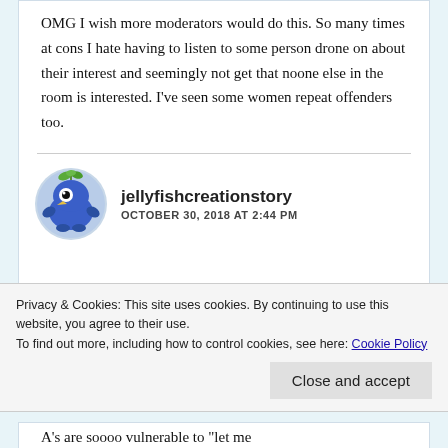OMG I wish more moderators would do this. So many times at cons I hate having to listen to some person drone on about their interest and seemingly not get that noone else in the room is interested. I've seen some women repeat offenders too.
jellyfishcreationstory
OCTOBER 30, 2018 AT 2:44 PM
Privacy & Cookies: This site uses cookies. By continuing to use this website, you agree to their use.
To find out more, including how to control cookies, see here: Cookie Policy
Close and accept
A's are soooo vulnerable to "let me